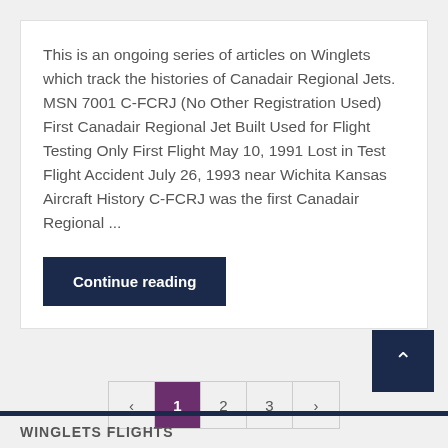This is an ongoing series of articles on Winglets which track the histories of Canadair Regional Jets. MSN 7001 C-FCRJ (No Other Registration Used) First Canadair Regional Jet Built Used for Flight Testing Only First Flight May 10, 1991 Lost in Test Flight Accident July 26, 1993 near Wichita Kansas Aircraft History C-FCRJ was the first Canadair Regional ...
Continue reading
WINGLETS FLIGHTS